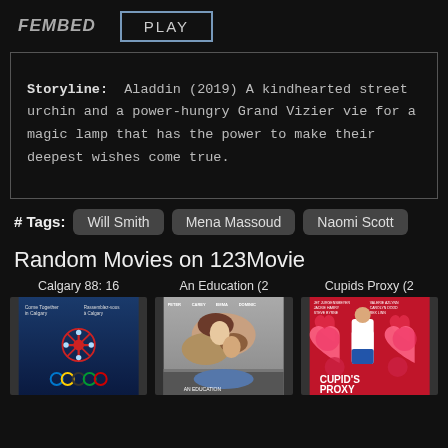FEMBED  PLAY
Storyline: Aladdin (2019) A kindhearted street urchin and a power-hungry Grand Vizier vie for a magic lamp that has the power to make their deepest wishes come true.
# Tags: Will Smith  Mena Massoud  Naomi Scott
Random Movies on 123Movie
Calgary 88: 16
[Figure (photo): Calgary 88 Winter Olympics movie poster with Olympic rings and snowflake design]
An Education (2
[Figure (photo): An Education movie poster showing two people lying down]
Cupids Proxy (2
[Figure (photo): Cupids Proxy movie poster with red background, heart shapes, and children]